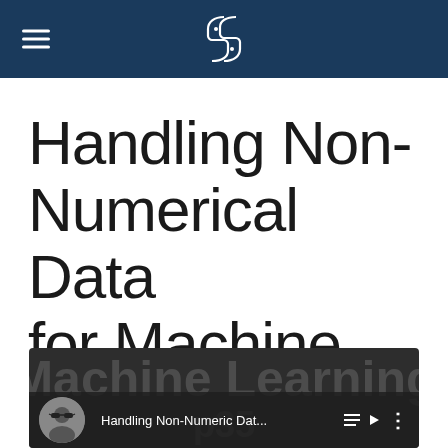Python (hamburger menu + Python logo)
Handling Non-Numerical Data for Machine Learning
[Figure (screenshot): Video thumbnail showing 'Handling Non-Numeric Dat...' with user avatar, playlist icon, and three-dot menu icon, overlaid on a dark background with large text 'Machine Learning' and 'p35']